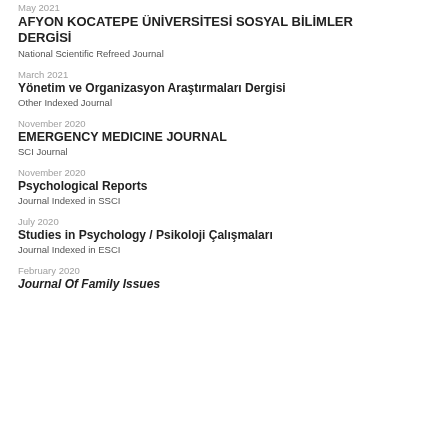May 2021
AFYON KOCATEPE ÜNİVERSİTESİ SOSYAL BİLİMLER DERGİSİ
National Scientific Refreed Journal
March 2021
Yönetim ve Organizasyon Araştırmaları Dergisi
Other Indexed Journal
November 2020
EMERGENCY MEDICINE JOURNAL
SCI Journal
November 2020
Psychological Reports
Journal Indexed in SSCI
July 2020
Studies in Psychology / Psikoloji Çalışmaları
Journal Indexed in ESCI
February 2020
Journal Of Family Issues